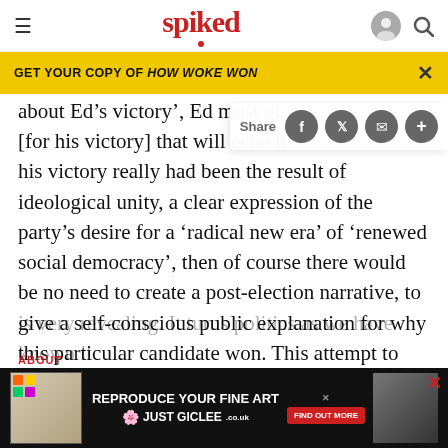spiked
GET YOUR COPY OF HOW WOKE WON
about Ed's victory', Ed must gi... [for his victory] that will echo h... his victory really had been the result of ideological unity, a clear expression of the party's desire for a 'radical new era' of 'renewed social democracy', then of course there would be no need to create a post-election narrative, to give a self-conscious public explanation for why this particular candidate won. This attempt to account for Ed's victory after the fact
is very revealing. It turns politics as we have known it
ABOUT
[Figure (screenshot): Advertisement banner: REPRODUCE YOUR FINE ART - JUST GICLEE logo with FIND OUT MORE button]